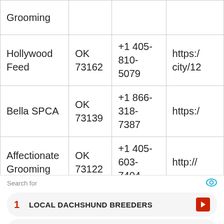| Name | State/ZIP | Phone | Website |
| --- | --- | --- | --- |
| Grooming |  |  |  |
| Hollywood Feed | OK 73162 | +1 405-810-5079 | https:/...city/12 |
| Bella SPCA | OK 73139 | +1 866-318-7387 | https:/... |
| Affectionate Grooming | OK 73122 | +1 405-603-7404 | http:// |
Search for
1  LOCAL DACHSHUND BREEDERS
2  GERMAN SHEPHERD PUPPIES FOR